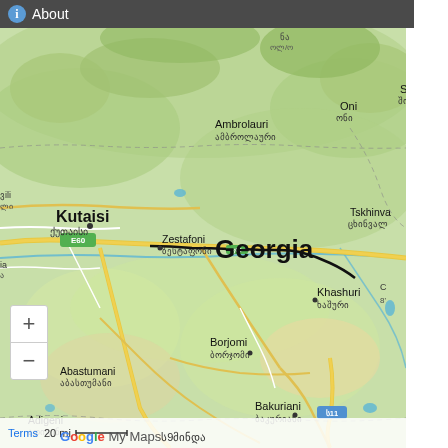About
[Figure (map): Google My Maps screenshot showing the country of Georgia with city labels in both Latin and Georgian script. Cities shown include Kutaisi, Ambrolauri, Oni, Shovi, Zestafoni, Georgia (country label), Tskhinva, Khashuri, Borjomi, Abastumani, Bakuriani, Adigeni, Akhaltsikhe, Akhalkalaki, Ninotsminda, Ardahan. Road E60 and S11 are visible. A route/track is drawn across the map. Map includes zoom +/- controls and Google My Maps branding.]
Terms   20 mi